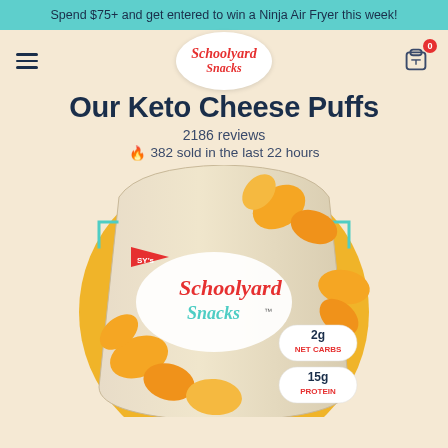Spend $75+ and get entered to win a Ninja Air Fryer this week!
[Figure (logo): Schoolyard Snacks logo in red italic script on white oval]
Our Keto Cheese Puffs
2186 reviews
382 sold in the last 22 hours
[Figure (photo): Schoolyard Snacks Keto Cheese Puffs bag with cheese puff pieces visible, showing 2g Net Carbs and 15g Protein labels, on a golden circle background]